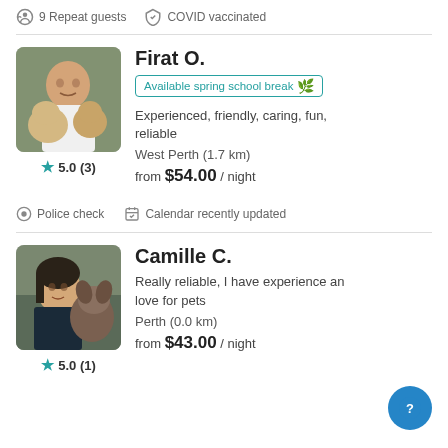9 Repeat guests   COVID vaccinated
Firat O.
Available spring school break
Experienced, friendly, caring, fun, reliable
West Perth (1.7 km)
from $54.00 / night
5.0 (3)
Police check   Calendar recently updated
Camille C.
Really reliable, I have experience and love for pets
Perth (0.0 km)
5.0 (1)
from $43.00 / night